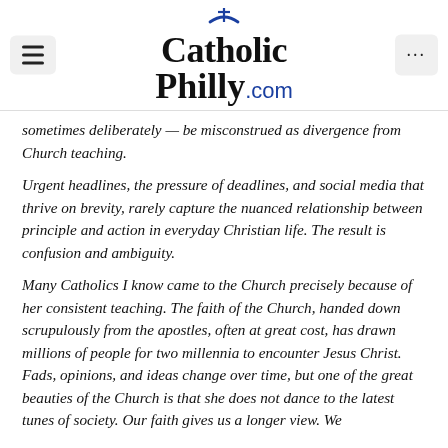CatholicPhilly.com
sometimes deliberately — be misconstrued as divergence from Church teaching.
Urgent headlines, the pressure of deadlines, and social media that thrive on brevity, rarely capture the nuanced relationship between principle and action in everyday Christian life. The result is confusion and ambiguity.
Many Catholics I know came to the Church precisely because of her consistent teaching. The faith of the Church, handed down scrupulously from the apostles, often at great cost, has drawn millions of people for two millennia to encounter Jesus Christ. Fads, opinions, and ideas change over time, but one of the great beauties of the Church is that she does not dance to the latest tunes of society. Our faith gives us a longer view. We